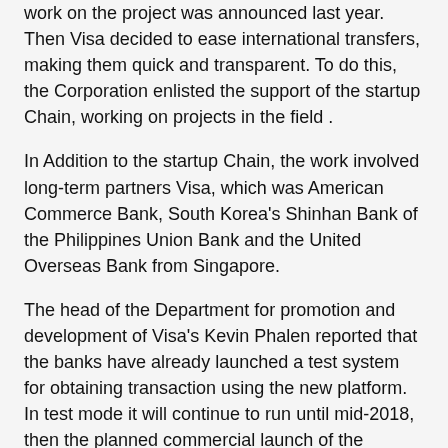work on the project was announced last year. Then Visa decided to ease international transfers, making them quick and transparent. To do this, the Corporation enlisted the support of the startup Chain, working on projects in the field .
In Addition to the startup Chain, the work involved long-term partners Visa, which was American Commerce Bank, South Korea's Shinhan Bank of the Philippines Union Bank and the United Overseas Bank from Singapore.
The head of the Department for promotion and development of Visa's Kevin Phalen reported that the banks have already launched a test system for obtaining transaction using the new platform. In test mode it will continue to run until mid-2018, then the planned commercial launch of the platform.
«this week we reported on a test run B2B payments using our new blockchain platforms. But this is only the beginning. Very soon we will involve more banks and customers. Sure that among them will soon be a major Corporation», — he added.
To work with the blockchain-a platform we developed special software, which at the moment, and began testing. Therefore, the global launch of the project decided to postpone for six